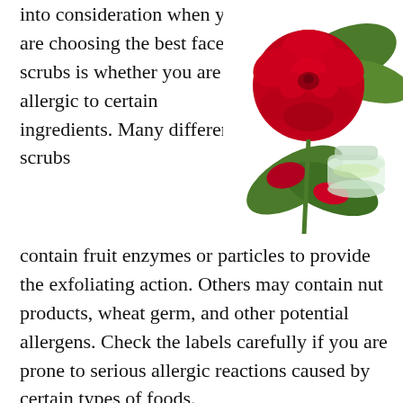into consideration when you are choosing the best face scrubs is whether you are allergic to certain ingredients. Many different scrubs contain fruit enzymes or particles to provide the exfoliating action. Others may contain nut products, wheat germ, and other potential allergens. Check the labels carefully if you are prone to serious allergic reactions caused by certain types of foods.
[Figure (photo): A red rose with leaves and rose petals next to a small glass jar of rose oil or essential oil, on a white background.]